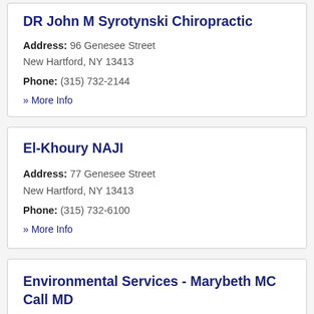DR John M Syrotynski Chiropractic
Address: 96 Genesee Street New Hartford, NY 13413
Phone: (315) 732-2144
» More Info
El-Khoury NAJI
Address: 77 Genesee Street New Hartford, NY 13413
Phone: (315) 732-6100
» More Info
Environmental Services - Marybeth MC Call MD